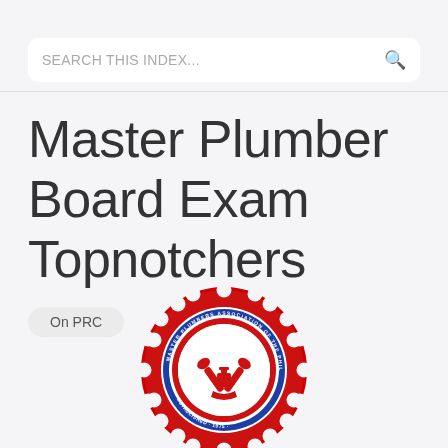SEARCH THIS INDEX...
Master Plumber Board Exam Topnotchers
On PRC
[Figure (logo): Master Plumbers Association of the Philippines circular logo with red gear border, blue inner circle, and plumbing tools emblem in center]